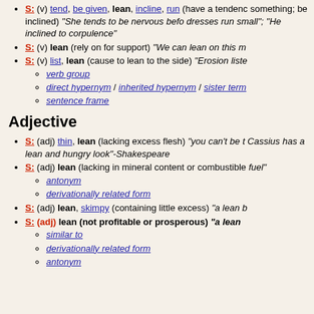S: (v) tend, be given, lean, incline, run (have a tendency or inclination; be inclined) "She tends to be nervous before exams"; "He has an inclination to corpulence"
S: (v) lean (rely on for support) "We can lean on this man"
S: (v) list, lean (cause to lean to the side) "Erosion listed the old tree"
verb group
direct hypernym / inherited hypernym / sister term
sentence frame
Adjective
S: (adj) thin, lean (lacking excess flesh) "you can't be too thin"; "Cassius has a lean and hungry look"-Shakespeare
S: (adj) lean (lacking in mineral content or combustible material) "lean fuel"
antonym
derivationally related form
S: (adj) lean, skimpy (containing little excess) "a lean budget"
S: (adj) lean (not profitable or prosperous) "a lean year"
similar to
derivationally related form
antonym